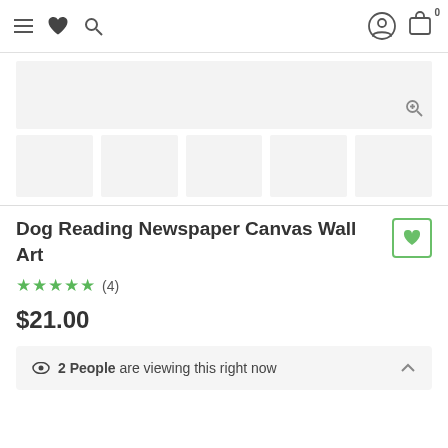Navigation bar with hamburger menu, heart, search, user icon, and cart with badge 0
[Figure (photo): Main product image placeholder (light gray rectangle) with zoom-in icon at bottom right]
[Figure (photo): Row of five thumbnail image placeholders]
Dog Reading Newspaper Canvas Wall Art
★★★★★ (4)
$21.00
👁 2 People are viewing this right now